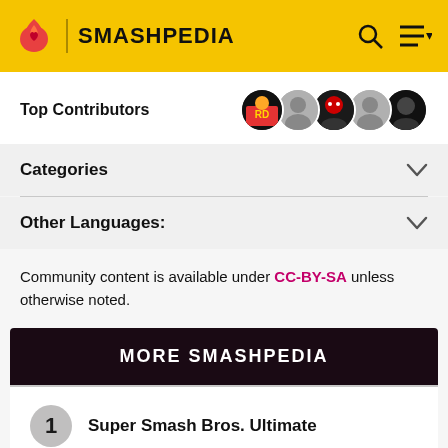SMASHPEDIA
Top Contributors
Categories
Other Languages:
Community content is available under CC-BY-SA unless otherwise noted.
MORE SMASHPEDIA
1 Super Smash Bros. Ultimate